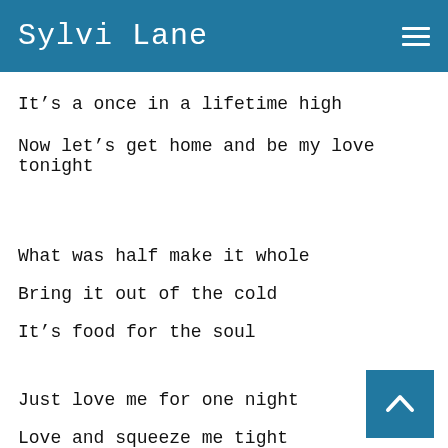Sylvi Lane
It’s a once in a lifetime high
Now let’s get home and be my love tonight
What was half make it whole
Bring it out of the cold
It’s food for the soul
Just love me for one night
Love and squeeze me tight